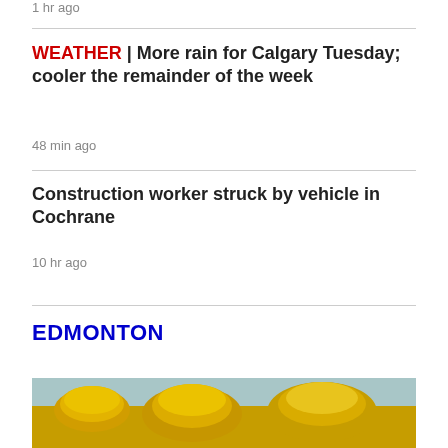1 hr ago
WEATHER | More rain for Calgary Tuesday; cooler the remainder of the week
48 min ago
Construction worker struck by vehicle in Cochrane
10 hr ago
EDMONTON
[Figure (photo): Close-up photo of yellow flowers (dandelion-like or willow catkins) against a light blue sky background]